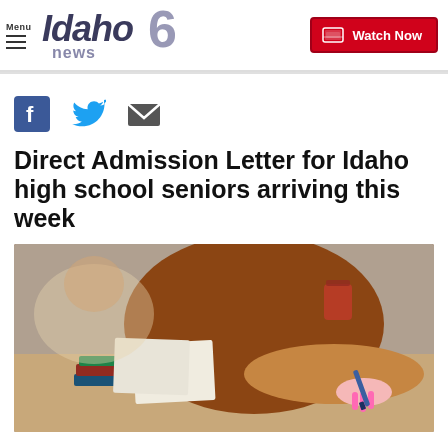Idaho News 6 — Menu / Watch Now
[Figure (logo): Idaho News 6 logo with stylized text and number 6]
[Figure (infographic): Social sharing icons: Facebook, Twitter, Email]
Direct Admission Letter for Idaho high school seniors arriving this week
[Figure (photo): Student writing at a desk, wearing a brown top, holding a blue pen, with books and a coffee cup visible in the background]